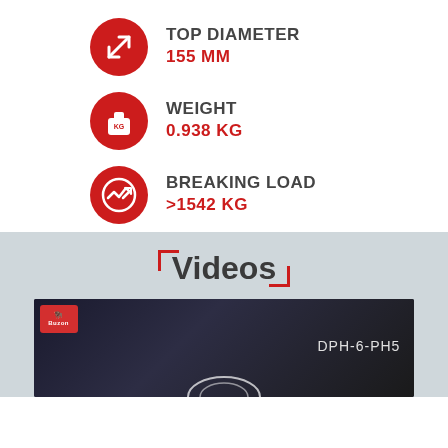[Figure (infographic): Red circle icon with diagonal arrow indicating diameter measurement]
TOP DIAMETER
155 MM
[Figure (infographic): Red weight/mass icon with KG label]
WEIGHT
0.938 KG
[Figure (infographic): Red circle with checkmark/graph icon indicating breaking load test]
BREAKING LOAD
>1542 KG
Videos
[Figure (screenshot): Video thumbnail showing Buzon logo and DPH-6-PH5 product on dark background]